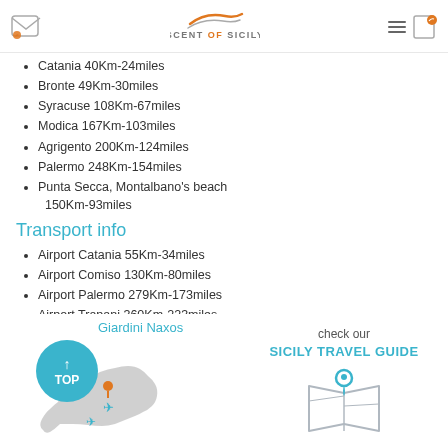Scent of Sicily
Catania 40Km-24miles
Bronte 49Km-30miles
Syracuse 108Km-67miles
Modica 167Km-103miles
Agrigento 200Km-124miles
Palermo 248Km-154miles
Punta Secca, Montalbano's beach 150Km-93miles
Transport info
Airport Catania 55Km-34miles
Airport Comiso 130Km-80miles
Airport Palermo 279Km-173miles
Airport Trapani 360Km-223miles
[Figure (map): Map of Sicily with location pin and airplane icons, Giardini Naxos label, and a blue circle with TOP arrow button]
check our SICILY TRAVEL GUIDE
[Figure (illustration): Map/location pin icon for Sicily Travel Guide]